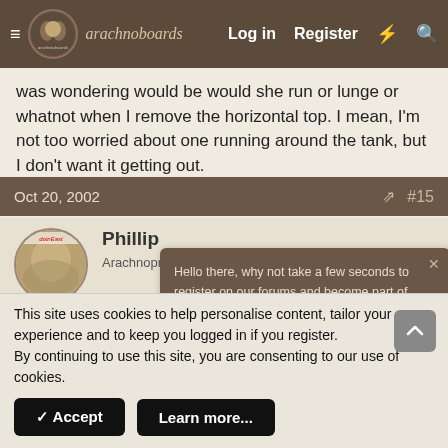arachnoboards — Log in  Register
was wondering would be would she run or lunge or whatnot when I remove the horizontal top. I mean, I'm not too worried about one running around the tank, but I don't want it getting out.
Oct 20, 2002  #15
Phillip
Arachnoprince  Old Timer
Hello there, why not take a few seconds to register on our forums and become part of the community? Just click here.
good deal...
Glad I could help.
This site uses cookies to help personalise content, tailor your experience and to keep you logged in if you register.
By continuing to use this site, you are consenting to our use of cookies.